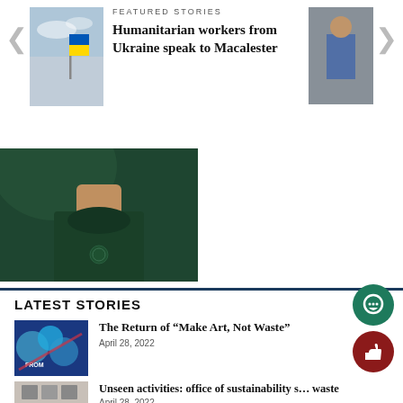[Figure (photo): Featured Stories banner with Ukraine flag photo thumbnail, navigation arrows, and small right thumbnail of a person]
FEATURED STORIES
Humanitarian workers from Ukraine speak to Macalester
[Figure (photo): Portrait photo of person in dark green Macalester t-shirt, head/neck visible]
LATEST STORIES
[Figure (photo): Thumbnail of colorful mosaic art with 'FROM' text]
The Return of “Make Art, Not Waste”
April 28, 2022
[Figure (photo): Thumbnail of office sustainability waste station]
Unseen activities: office of sustainability s... waste
April 28, 2022